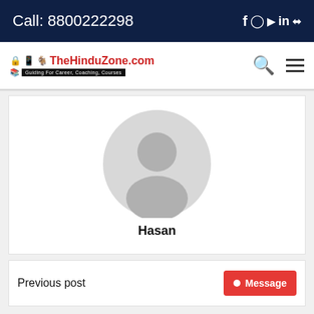Call: 8800222298
[Figure (logo): TheHinduZone.com logo with tagline: Guiding For Career, Coaching, Courses]
[Figure (illustration): Default user avatar placeholder - grey circle with person silhouette]
Hasan
Previous post
Message